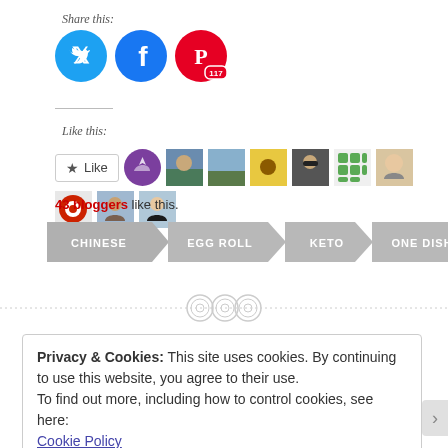Share this:
[Figure (infographic): Social share buttons: Twitter (blue circle), Facebook (blue circle), Pinterest (red circle with 117 count badge)]
Like this:
[Figure (infographic): Like button and 9 blogger avatar thumbnails]
43 bloggers like this.
[Figure (infographic): Tag buttons: CHINESE, EGG ROLL, KETO, ONE DISH in gray arrow/chevron shapes]
[Figure (infographic): Decorative divider with three button/circle icons]
Privacy & Cookies: This site uses cookies. By continuing to use this website, you agree to their use.
To find out more, including how to control cookies, see here:
Cookie Policy
Close and accept